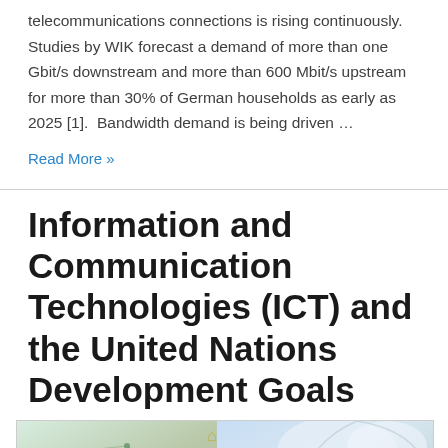telecommunications connections is rising continuously. Studies by WIK forecast a demand of more than one Gbit/s downstream and more than 600 Mbit/s upstream for more than 30% of German households as early as 2025 [1].  Bandwidth demand is being driven …
Read More »
Information and Communication Technologies (ICT) and the United Nations Development Goals
[Figure (photo): Composite photograph showing a person silhouette with nature (sky, trees) on the right half, and technical/network diagrams with satellite dish illustrations on the left half, suggesting ICT and sustainability themes.]